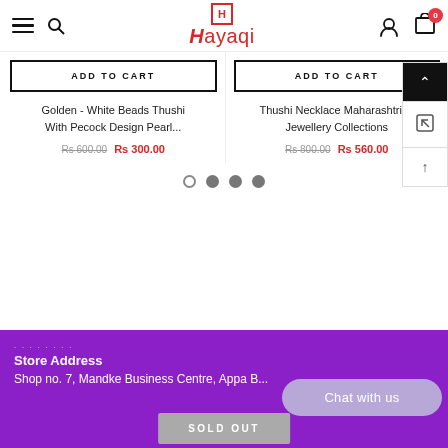Hayaqi — navigation bar with hamburger menu, search, logo, user icon, cart (0)
ADD TO CART
ADD TO CART
Golden - White Beads Thushi With Pecock Design Pearl...
Rs 600.00  Rs 300.00
Thushi Necklace Maharashtrian Jewellery Collections
Rs 800.00  Rs 560.00
[Figure (other): Pagination dots: one empty circle, three filled circles]
[Figure (other): Scroll controls: up arrow (dark background), resize icon, up arrow]
Store Address
Shop no. 7, Mandke Business Centre, Appa B...
Chat with us
SOLD OUT